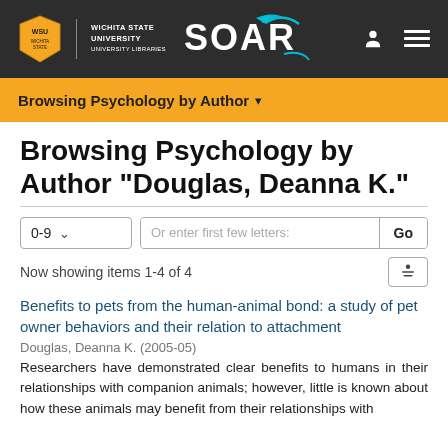Wichita State University SOAR
Browsing Psychology by Author ▾
Browsing Psychology by Author "Douglas, Deanna K."
Now showing items 1-4 of 4
Benefits to pets from the human-animal bond: a study of pet owner behaviors and their relation to attachment
Douglas, Deanna K. (2005-05)
Researchers have demonstrated clear benefits to humans in their relationships with companion animals; however, little is known about how these animals may benefit from their relationships with humans. The purpose of the...